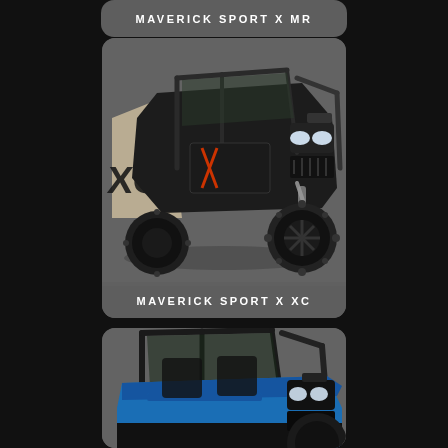MAVERICK SPORT X MR
[Figure (photo): Can-Am Maverick Sport X XC side-by-side off-road vehicle in black and tan/desert color scheme, viewed from front-left angle, showing roll cage, large knobby tires, and XC graphics on the door panel]
MAVERICK SPORT X XC
[Figure (photo): Can-Am Maverick Sport side-by-side off-road vehicle in blue color scheme, viewed from front-right angle, showing roll cage and headlights, partially cropped at bottom of page]